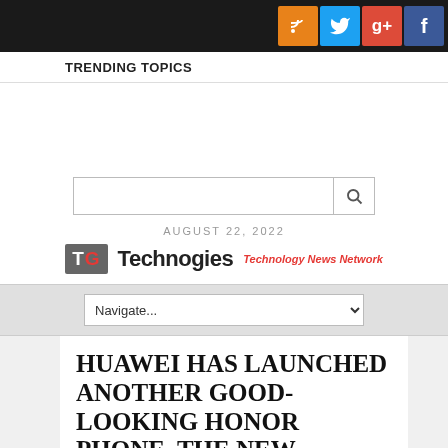Social icons: RSS, Twitter, Google+, Facebook
TRENDING TOPICS
[Figure (other): Advertisement / blank space area]
Search bar
AUGUST 22, 2022
[Figure (logo): TG Technogies - Technology News Network logo]
Navigate...
HUAWEI HAS LAUNCHED ANOTHER GOOD-LOOKING HONOR PHONE, THE NEW HONOR 10